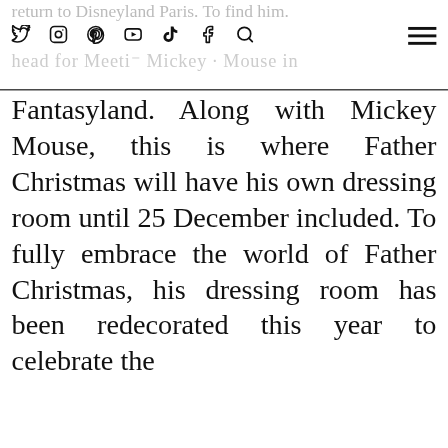return to Disneyland Paris. To find him, head for Meet Mickey Mouse in Fantasyland.
Fantasyland. Along with Mickey Mouse, this is where Father Christmas will have his own dressing room until 25 December included. To fully embrace the world of Father Christmas, his dressing room has been redecorated this year to celebrate the
This site uses cookies to deliver its services and to analyze traffic. By using this site, you agree to its use of cookies. Learn more
OK
[Figure (photo): Partial view of a photo at the bottom of the page showing colorful characters, likely at Disneyland Paris]